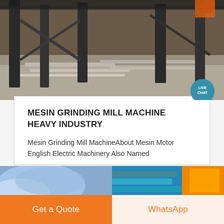[Figure (photo): Industrial construction site with steel columns and concrete slabs, overhead structural elements visible]
MESIN GRINDING MILL MACHINE HEAVY INDUSTRY
Mesin Grinding Mill MachineAbout Mesin Motor English Electric Machinery Also Named
[Figure (photo): Two partial images visible at bottom: blue gloved hand on left, colorful industrial equipment on right]
Get a Quote
WhatsApp